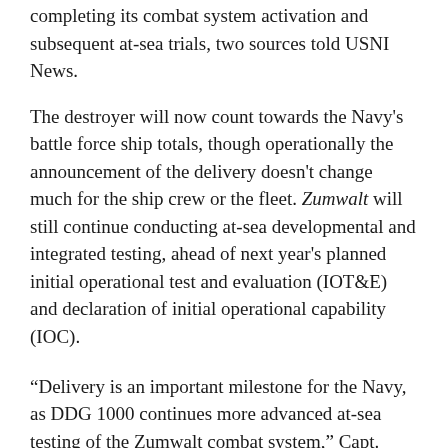completing its combat system activation and subsequent at-sea trials, two sources told USNI News.
The destroyer will now count towards the Navy's battle force ship totals, though operationally the announcement of the delivery doesn't change much for the ship crew or the fleet. Zumwalt will still continue conducting at-sea developmental and integrated testing, ahead of next year's planned initial operational test and evaluation (IOT&E) and declaration of initial operational capability (IOC).
“Delivery is an important milestone for the Navy, as DDG 1000 continues more advanced at-sea testing of the Zumwalt combat system,” Capt. Kevin Smith, DDG 1000 program manager, said in a Navy statement. “The combat test team, consisting of the DDG 1000 sailors, Raytheon engineers, and Navy field activity teams, have worked diligently to get USS